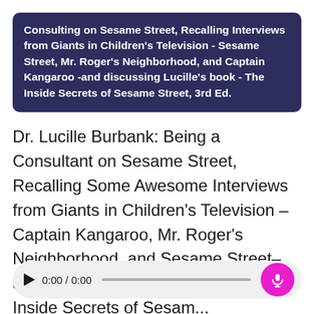Consulting on Sesame Street, Recalling Interviews from Giants in Children's Television - Sesame Street, Mr. Roger's Neighborhood, and Captain Kangaroo -and discussing Lucille's book - The Inside Secrets of Sesame Street, 3rd Ed.
Dr. Lucille Burbank: Being a Consultant on Sesame Street, Recalling Some Awesome Interviews from Giants in Children's Television – Captain Kangaroo, Mr. Roger's Neighborhood, and Sesame Street–and Discussing Lucille's book – The Inside Secrets of Sesam...
[Figure (other): Audio player widget showing play button, time display 0:00 / 0:00, a progress bar, and a pink microphone button]